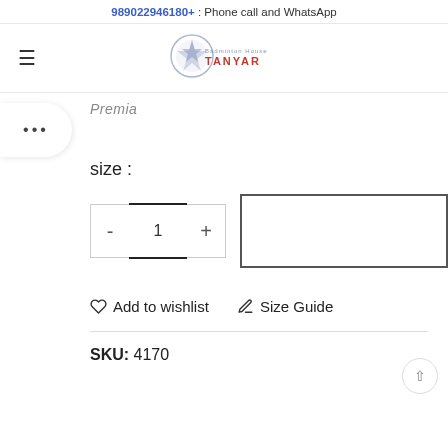989022946180+ : Phone call and WhatsApp
[Figure (logo): Tanyar brand logo with circular emblem and TANYAR text]
Premia
...
size :
- 1 + (quantity selector and add to cart button)
Add to wishlist   Size Guide
SKU: 4170